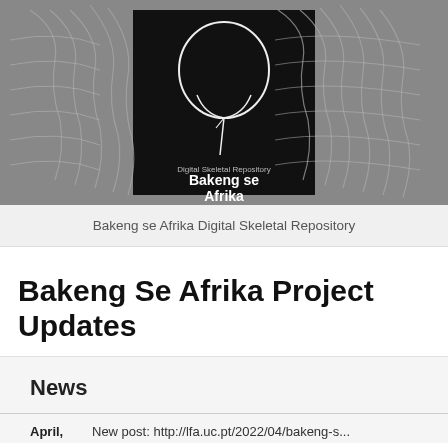[Figure (photo): Bakeng se Afrika Digital Skeletal Repository logo on dark background with skull X-ray image, flanked by grayscale spine/rib imagery on both sides]
Bakeng se Afrika Digital Skeletal Repository
Bakeng Se Afrika Project Updates
News
April,	New post: http://lfa.uc.pt/2022/04/bakeng-s...